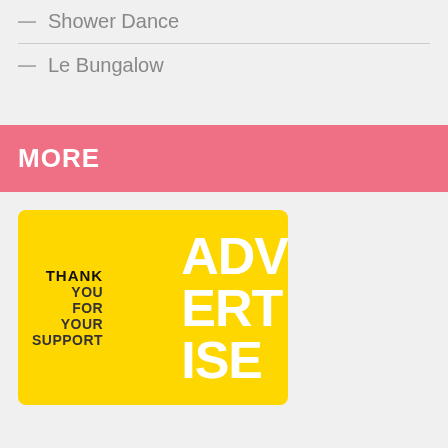— Shower Dance
— Le Bungalow
MORE
[Figure (illustration): Yellow advertisement box with 'THANK YOU FOR YOUR SUPPORT' on the left and 'ADVERTISE' in large white letters on the right]